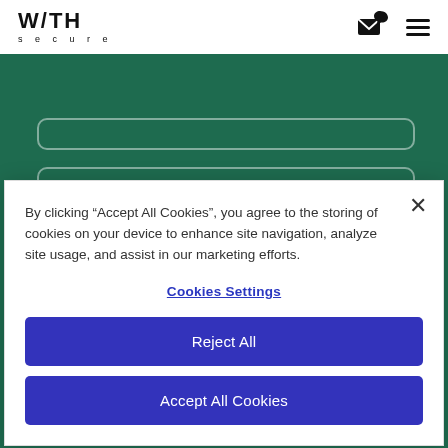WITH secure
[Figure (screenshot): WithSecure website screenshot showing green background with two rounded-corner card outlines and partial heading 'Elements Vulnerability']
By clicking “Accept All Cookies”, you agree to the storing of cookies on your device to enhance site navigation, analyze site usage, and assist in our marketing efforts.
Cookies Settings
Reject All
Accept All Cookies